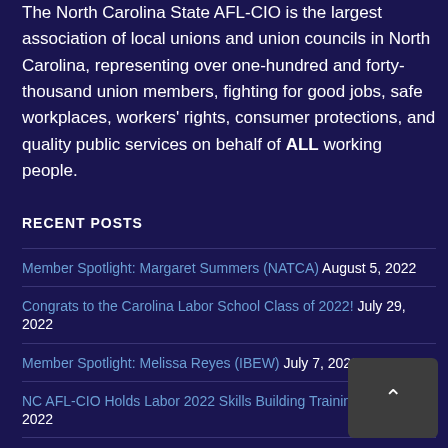The North Carolina State AFL-CIO is the largest association of local unions and union councils in North Carolina, representing over one-hundred and forty-thousand union members, fighting for good jobs, safe workplaces, workers' rights, consumer protections, and quality public services on behalf of ALL working people.
RECENT POSTS
Member Spotlight: Margaret Summers (NATCA) August 5, 2022
Congrats to the Carolina Labor School Class of 2022! July 29, 2022
Member Spotlight: Melissa Reyes (IBEW) July 7, 2022
NC AFL-CIO Holds Labor 2022 Skills Building Training June 28, 2022
1st Annual Carolinas Kickball Game Held in Charlotte June 10, 2022